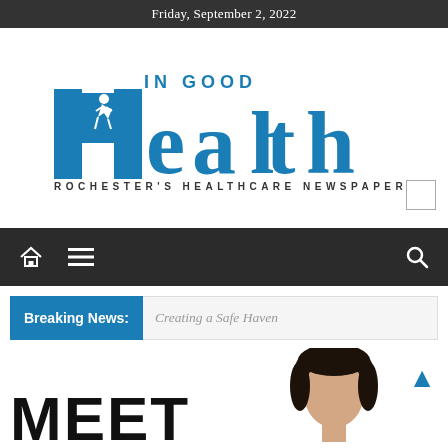Friday, September 2, 2022
[Figure (logo): In Good Health – Rochester's Healthcare Newspaper logo with large blue 'Health' text and runner silhouette]
[Figure (infographic): Navigation bar with home icon, hamburger menu icon, and search icon on dark background]
Breaking News:  Creating a Safe Haven
MEET
[Figure (photo): Headshot of a person with dark hair, cropped, partially visible]